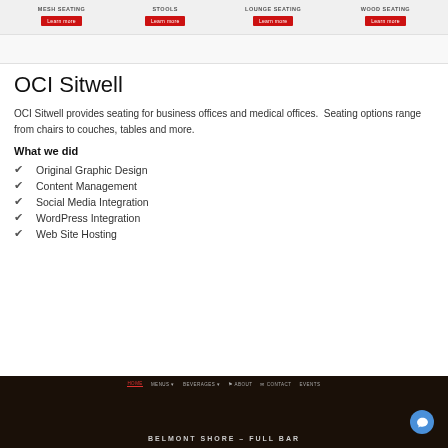[Figure (screenshot): Website navigation bar for OCI Sitwell with categories: MESH SEATING, STOOLS, LOUNGE SEATING, WOOD SEATING each with a red 'Learn more' button, on a light grey background]
OCI Sitwell
OCI Sitwell provides seating for business offices and medical offices.  Seating options range from chairs to couches, tables and more.
What we did
Original Graphic Design
Content Management
Social Media Integration
WordPress Integration
Web Site Hosting
[Figure (screenshot): Dark screenshot of a bar/restaurant website 'Belmont Shore - Full Bar' with navigation links: HOME, MENUS, BEVERAGES, ABOUT, CONTACT, EVENTS, and a chat bubble icon]